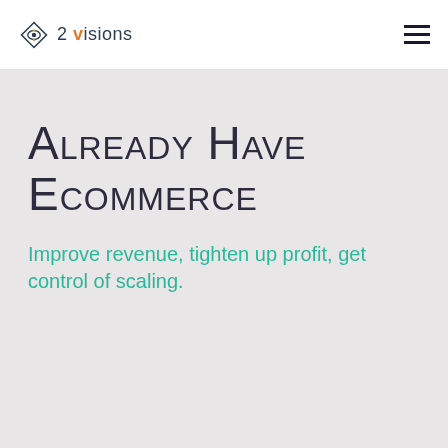2 visions
Already Have Ecommerce
Improve revenue, tighten up profit, get control of scaling.